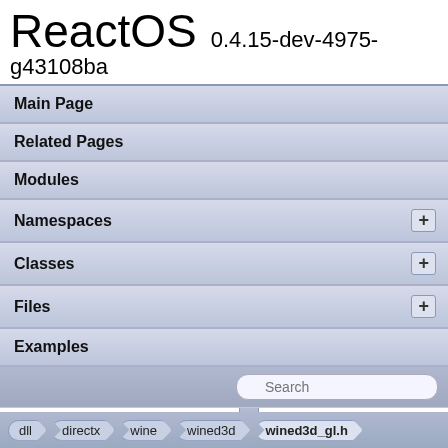ReactOS 0.4.15-dev-4975-g43108ba
Main Page
Related Pages
Modules
Namespaces
Classes
Files
Examples
wined3d_gl.h
dll > directx > wine > wined3d > wined3d_gl.h